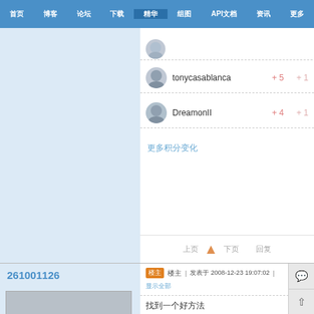首页 | 博客 | 论坛 | 下载 | 精华 | 组图 | API文档 | 资讯 | 更多
tonycasablanca  +5  +1
DreamonII  +4  +1
更多积分变化
上一页 ▲ 下一页  回复
261001126
[Figure (illustration): 3D cartoon avatar of a child with black hair and red shirt]
楼主  |  发表于 2008-12-23 19:07:02  |  显示全部
找到一个好方法
利用API中ShellExecute函数来调用shell
01.
02.  Private Declare Function URLDo... As Long, ByVal szURL As String... lpfnCB As Long) As Long